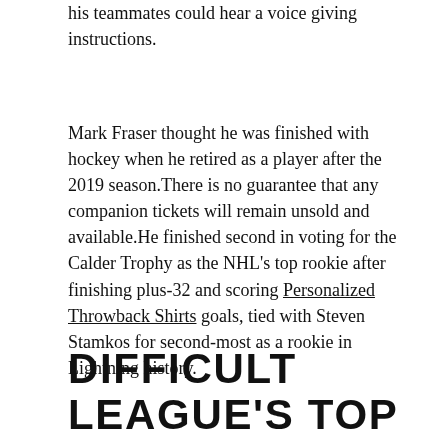his teammates could hear a voice giving instructions.
Mark Fraser thought he was finished with hockey when he retired as a player after the 2019 season.There is no guarantee that any companion tickets will remain unsold and available.He finished second in voting for the Calder Trophy as the NHL's top rookie after finishing plus-32 and scoring Personalized Throwback Shirts goals, tied with Steven Stamkos for second-most as a rookie in Lightning history.
DIFFICULT LEAGUE'S TOP